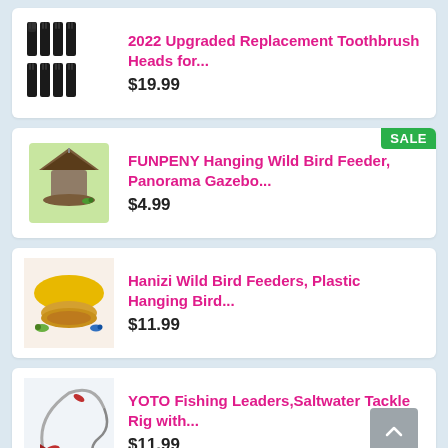[Figure (photo): Eight black toothbrush replacement heads arranged in two rows]
2022 Upgraded Replacement Toothbrush Heads for...
$19.99
[Figure (photo): FUNPENY gazebo style hanging wild bird feeder on tree branch]
FUNPENY Hanging Wild Bird Feeder, Panorama Gazebo...
$4.99
[Figure (photo): Hanizi yellow dome plastic hanging bird feeder with birds]
Hanizi Wild Bird Feeders, Plastic Hanging Bird...
$11.99
[Figure (photo): YOTO fishing leader with saltwater tackle rig hook set]
YOTO Fishing Leaders,Saltwater Tackle Rig with...
$11.99
[Figure (photo): Vitabath product partially visible at bottom]
Vitabath Mega Vitamin Fortified...